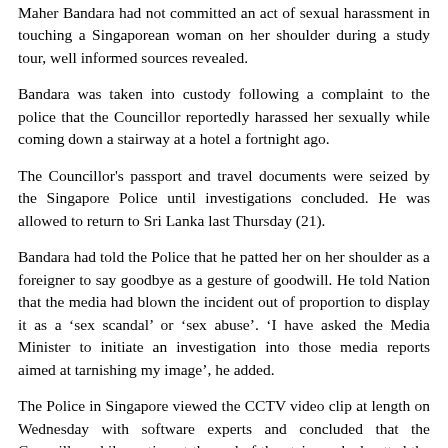Maher Bandara had not committed an act of sexual harassment in touching a Singaporean woman on her shoulder during a study tour, well informed sources revealed.
Bandara was taken into custody following a complaint to the police that the Councillor reportedly harassed her sexually while coming down a stairway at a hotel a fortnight ago.
The Councillor's passport and travel documents were seized by the Singapore Police until investigations concluded. He was allowed to return to Sri Lanka last Thursday (21).
Bandara had told the Police that he patted her on her shoulder as a foreigner to say goodbye as a gesture of goodwill. He told Nation that the media had blown the incident out of proportion to display it as a ‘sex scandal’ or ‘sex abuse’. ‘I have asked the Media Minister to initiate an investigation into those media reports aimed at tarnishing my image’, he added.
The Police in Singapore viewed the CCTV video clip at length on Wednesday with software experts and concluded that the Councillor while parting at the end of the stairway had patted the woman on the shoulder to bid goodbye.